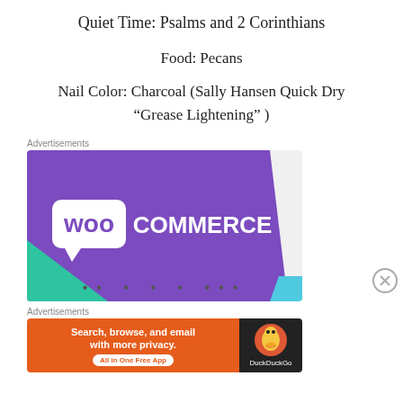Quiet Time: Psalms and 2 Corinthians
Food: Pecans
Nail Color: Charcoal (Sally Hansen Quick Dry “Grease Lightening” )
Advertisements
[Figure (screenshot): WooCommerce advertisement banner with purple background and teal/green accent shapes]
Advertisements
[Figure (screenshot): DuckDuckGo advertisement: Search, browse, and email with more privacy. All in One Free App]